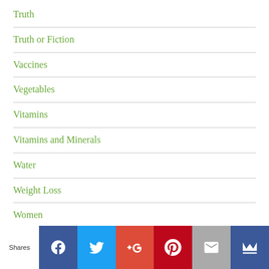Truth
Truth or Fiction
Vaccines
Vegetables
Vitamins
Vitamins and Minerals
Water
Weight Loss
Women
[Figure (other): Social sharing bar with Facebook, Twitter, Google+, Pinterest, Email, and crown/bookmark icon buttons. Left label reads 'Shares'.]